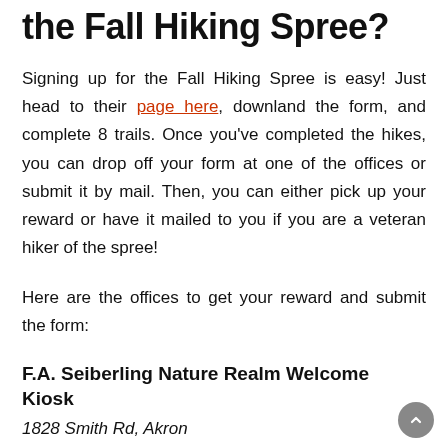the Fall Hiking Spree?
Signing up for the Fall Hiking Spree is easy! Just head to their page here, downland the form, and complete 8 trails. Once you've completed the hikes, you can drop off your form at one of the offices or submit it by mail. Then, you can either pick up your reward or have it mailed to you if you are a veteran hiker of the spree!
Here are the offices to get your reward and submit the form:
F.A. Seiberling Nature Realm Welcome Kiosk
1828 Smith Rd, Akron